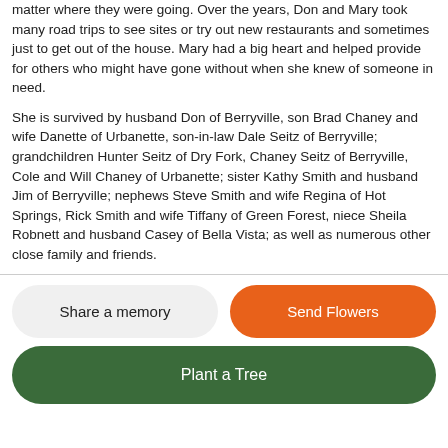matter where they were going. Over the years, Don and Mary took many road trips to see sites or try out new restaurants and sometimes just to get out of the house. Mary had a big heart and helped provide for others who might have gone without when she knew of someone in need.
She is survived by husband Don of Berryville, son Brad Chaney and wife Danette of Urbanette, son-in-law Dale Seitz of Berryville; grandchildren Hunter Seitz of Dry Fork, Chaney Seitz of Berryville, Cole and Will Chaney of Urbanette; sister Kathy Smith and husband Jim of Berryville; nephews Steve Smith and wife Regina of Hot Springs, Rick Smith and wife Tiffany of Green Forest, niece Sheila Robnett and husband Casey of Bella Vista; as well as numerous other close family and friends.
Share a memory
Send Flowers
Plant a Tree